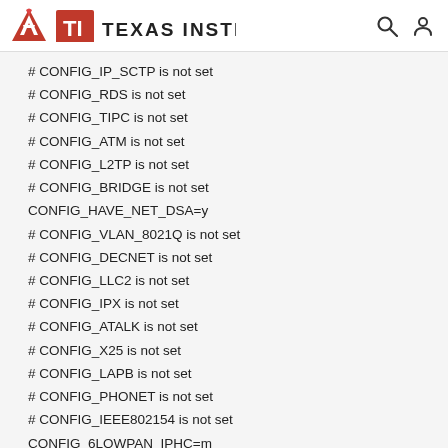Texas Instruments
# CONFIG_IP_SCTP is not set
# CONFIG_RDS is not set
# CONFIG_TIPC is not set
# CONFIG_ATM is not set
# CONFIG_L2TP is not set
# CONFIG_BRIDGE is not set
CONFIG_HAVE_NET_DSA=y
# CONFIG_VLAN_8021Q is not set
# CONFIG_DECNET is not set
# CONFIG_LLC2 is not set
# CONFIG_IPX is not set
# CONFIG_ATALK is not set
# CONFIG_X25 is not set
# CONFIG_LAPB is not set
# CONFIG_PHONET is not set
# CONFIG_IEEE802154 is not set
CONFIG_6LOWPAN_IPHC=m
# CONFIG_NET_SCHED is not set
# CONFIG_DCB is not set
CONFIG_DNS_RESOLVER=y
# CONFIG_BATMAN_ADV is not set
# CONFIG_OPENVSWITCH is not set